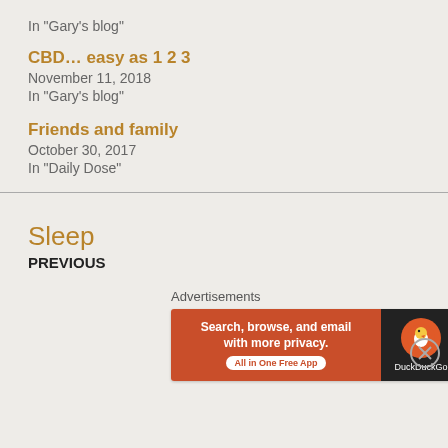In "Gary's blog"
CBD… easy as 1 2 3
November 11, 2018
In "Gary's blog"
Friends and family
October 30, 2017
In "Daily Dose"
Sleep
PREVIOUS
Advertisements
[Figure (other): DuckDuckGo advertisement banner: 'Search, browse, and email with more privacy. All in One Free App' with DuckDuckGo duck logo on dark background]